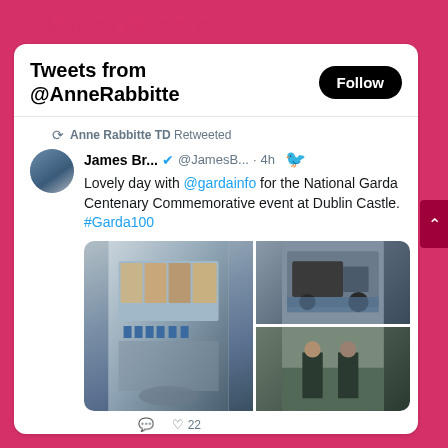Follow me on Twitter
Tweets from @AnneRabbitte
Anne Rabbitte TD Retweeted
James Br... @JamesB... · 4h  Lovely day with @gardainfo for the National Garda Centenary Commemorative event at Dublin Castle. #Garda100
[Figure (photo): Three photos from National Garda Centenary Commemorative event at Dublin Castle: left photo shows a large courtyard with people gathered, top right shows people near a historic vehicle, bottom right shows two men posing for a photo.]